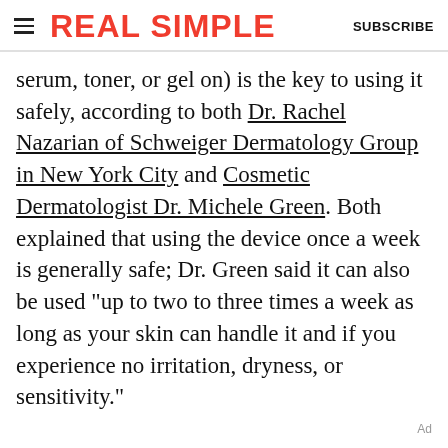REAL SIMPLE | SUBSCRIBE
serum, toner, or gel on) is the key to using it safely, according to both Dr. Rachel Nazarian of Schweiger Dermatology Group in New York City and Cosmetic Dermatologist Dr. Michele Green. Both explained that using the device once a week is generally safe; Dr. Green said it can also be used "up to two to three times a week as long as your skin can handle it and if you experience no irritation, dryness, or sensitivity."
Ad